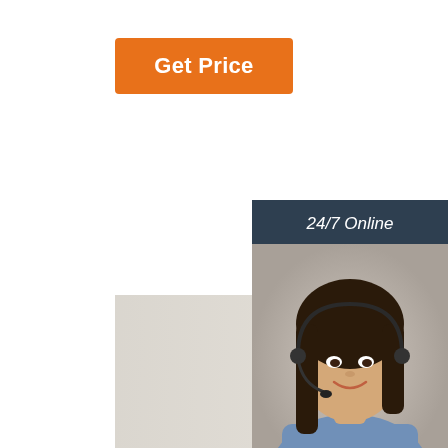Get Price
[Figure (photo): Three long yellow/gold zinc-plated flat-head wood screws with coarse threading, arranged diagonally on a light gray wooden surface]
[Figure (photo): Customer service representative: smiling woman with dark hair wearing a headset/microphone]
24/7 Online
Click here for free chat !
QUOTATION